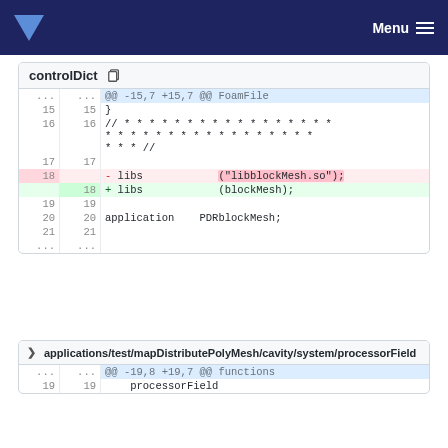Menu
controlDict
[Figure (screenshot): Unified diff of controlDict file showing line 18 changed from 'libs ("libblockMesh.so");' to 'libs (blockMesh);']
applications/test/mapDistributePolyMesh/cavity/system/processorField
[Figure (screenshot): Unified diff of processorField file showing @@ -19,8 +19,7 @@ functions, line 19: processorField]